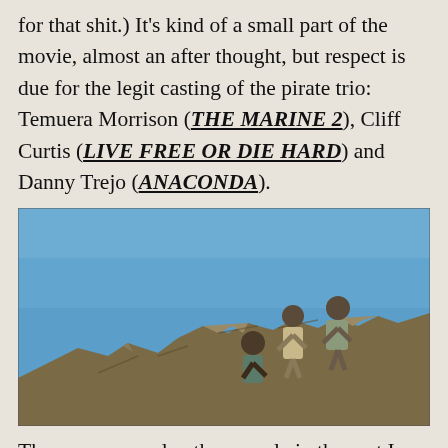for that shit.) It's kind of a small part of the movie, almost an after thought, but respect is due for the legit casting of the pirate trio: Temuera Morrison (THE MARINE 2), Cliff Curtis (LIVE FREE OR DIE HARD) and Danny Trejo (ANACONDA).
[Figure (photo): Three people standing on rocky cliffs against a blue sky, appearing to be from a movie scene.]
There are a couple other people in the cast I wasn't expecting: Janney as Robin's boss, Amy Sedaris (Strangers With Candy) as her secretary. At the resort